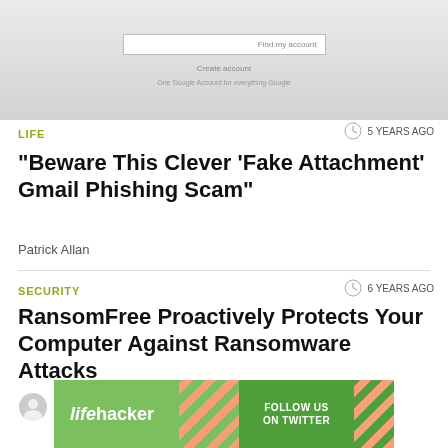[Figure (screenshot): Screenshot of a Google account login/recovery form with 'Find my account' link, 'Create account' option, and 'One Google Account for everything Google' text]
LIFE
5 YEARS AGO
Beware This Clever ‘Fake Attachment’ Gmail Phishing Scam
Patrick Allan
SECURITY
6 YEARS AGO
RansomFree Proactively Protects Your Computer Against Ransomware Attacks
Alan Henry  |  1
[Figure (screenshot): Lifehacker banner advertisement with 'lifehacker' logo on green background, diagonal stripe pattern, and 'FOLLOW US ON TWITTER' call to action]